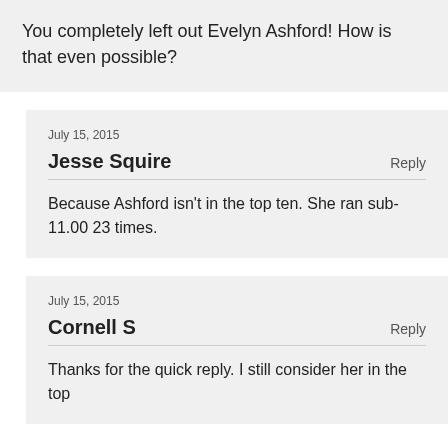You completely left out Evelyn Ashford! How is that even possible?
July 15, 2015
Jesse Squire
Reply
Because Ashford isn't in the top ten. She ran sub-11.00 23 times.
July 15, 2015
Cornell S
Reply
Thanks for the quick reply. I still consider her in the top